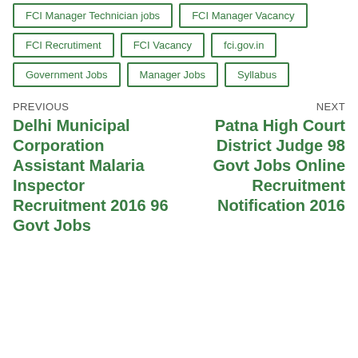FCI Manager Technician jobs
FCI Manager Vacancy
FCI Recrutiment
FCI Vacancy
fci.gov.in
Government Jobs
Manager Jobs
Syllabus
PREVIOUS
Delhi Municipal Corporation Assistant Malaria Inspector Recruitment 2016 96 Govt Jobs
NEXT
Patna High Court District Judge 98 Govt Jobs Online Recruitment Notification 2016